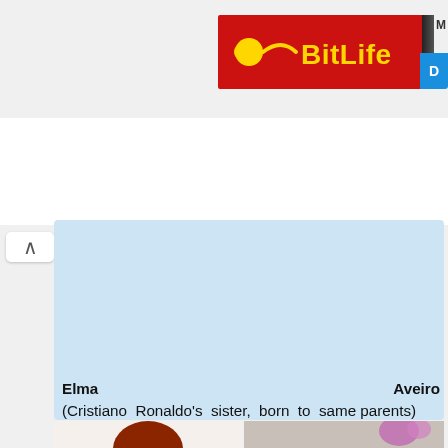[Figure (screenshot): BitLife app advertisement banner with red background, yellow sperm icon and yellow BITLIFE text logo, alongside a blue strip with white letter D]
[Figure (screenshot): Web page screenshot showing a chevron/up arrow button and a light blue content card with text about Elma Aveiro and two photos: one solo glamour photo of a red-haired woman, and one selfie photo of the same woman with Cristiano Ronaldo]
Elma Aveiro (Cristiano Ronaldo's sister, born to same parents)